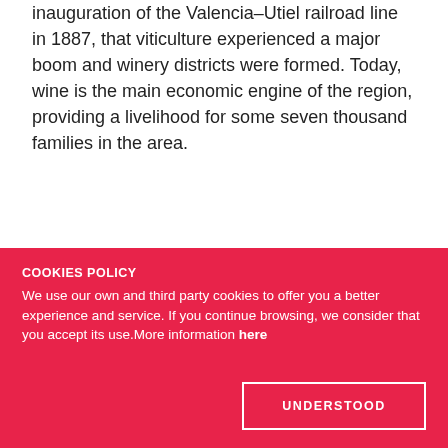inauguration of the Valencia–Utiel railroad line in 1887, that viticulture experienced a major boom and winery districts were formed. Today, wine is the main economic engine of the region, providing a livelihood for some seven thousand families in the area.
Climatic and geographical characteristics of the D.O. Utiel-Requena
COOKIES POLICY
We use our own and third party cookies to offer you a better experience and service. If you continue browsing, we consider that you accept its use.More information here